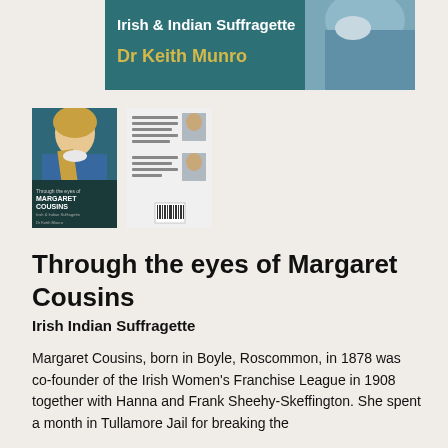[Figure (illustration): Top portion of a book cover showing 'Irish & Indian Suffragette' subtitle and 'Dr Keith Munro' author name on a teal/blue-green background with a partial portrait painting of a woman]
[Figure (photo): Two book cover thumbnails side by side: front cover showing a painted portrait of Margaret Cousins in blue dress with yellow scarf and book title text, and back cover showing author photos and text]
Through the eyes of Margaret Cousins
Irish Indian Suffragette
Margaret Cousins, born in Boyle, Roscommon, in 1878 was co-founder of the Irish Women's Franchise League in 1908 together with Hanna and Frank Sheehy-Skeffington. She spent a month in Tullamore Jail for breaking the